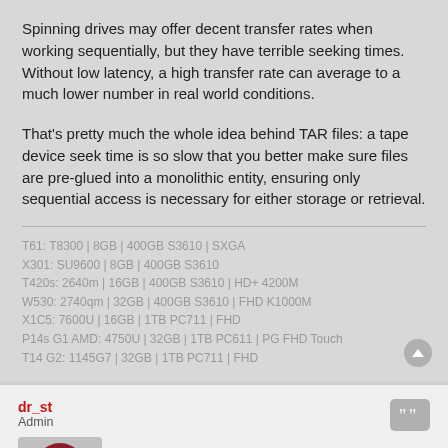Spinning drives may offer decent transfer rates when working sequentially, but they have terrible seeking times. Without low latency, a high transfer rate can average to a much lower number in real world conditions.
That's pretty much the whole idea behind TAR files: a tape device seek time is so slow that you better make sure files are pre-glued into a monolithic entity, ensuring only sequential access is necessary for either storage or retrieval.
T61: T8300 | 8GB | 400GB S3610 | SXGA
X301: SU9600 | 8GB | 400GB S3610
T420s: 2640m | 16GB | 400GB S3610 | HD+ 4200M
W530: 2740qm | 32GB | 400GB S3610 | FHD K1000M
X1C5: 7600U | 16GB | 1TB PC711 | FHD
P14s G1 AMD: 4750U | 32GB | 1TB PC611 | PG FHD Touch
T14 G2: 1145G7 | 32GB | 1TB PC711 | FHD
dr_st
Admin